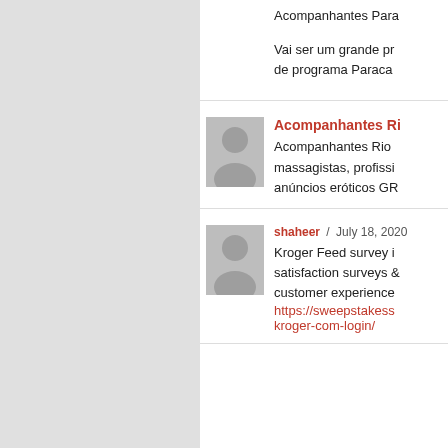Acompanhantes Para... Vai ser um grande pr... de programa Paraca...
Acompanhantes Rio... massagistas, profissi... anúncios eróticos GR...
shaheer / July 18, 2020 Kroger Feed survey i... satisfaction surveys ... customer experience... https://sweepstakess... kroger-com-login/